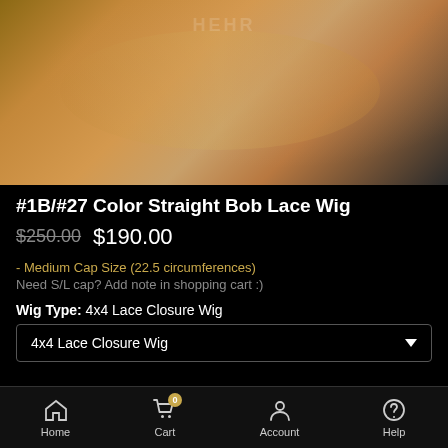[Figure (photo): Photo of a person wearing a #1B/#27 color straight bob lace wig, showing neckline and gold chain necklaces against a grey background]
#1B/#27 Color Straight Bob Lace Wig
$250.00  $190.00
- Medium Cap Size (22.5 circumferences)
Need S/L cap? Add note in shopping cart :)
Wig Type:  4x4 Lace Closure Wig
4x4 Lace Closure Wig
Home   Cart   Account   Help